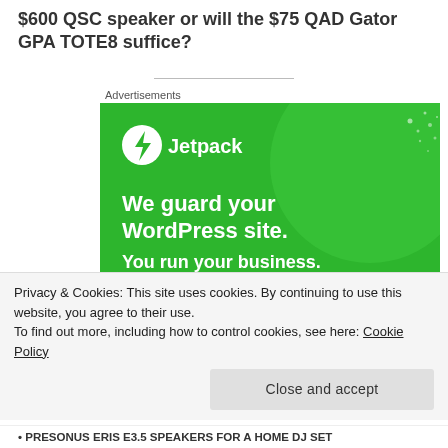$600 QSC speaker or will the $75 QAD Gator GPA TOTE8 suffice?
[Figure (screenshot): Jetpack advertisement banner on green background with text: 'We guard your WordPress site. You run your business.' with Jetpack logo top left.]
Privacy & Cookies: This site uses cookies. By continuing to use this website, you agree to their use.
To find out more, including how to control cookies, see here: Cookie Policy
Close and accept
PRESONUS ERIS E3.5 SPEAKERS FOR A HOME DJ SET